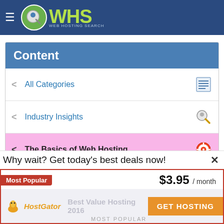[Figure (logo): WHS Web Hosting Search logo with hamburger menu on dark blue header bar]
Content
All Categories
Industry Insights
The Basics of Web Hosting
Domain names
Design and Programming
Working with Blogs
Why wait? Get today's best deals now!
Most Popular  $3.95 / month  GET HOSTING  HostGator